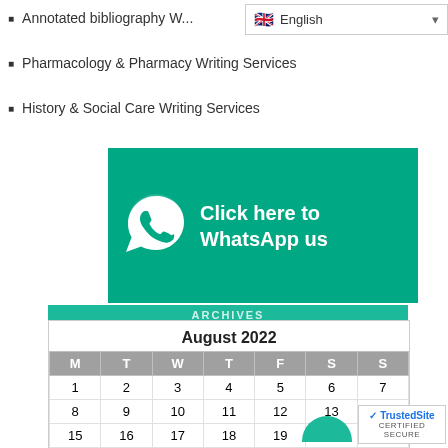Annotated bibliography W...
Pharmacology & Pharmacy Writing Services
History & Social Care Writing Services
[Figure (infographic): WhatsApp banner: green background with phone icon and text 'Click here to WhatsApp us']
| M | T | W | T | F | S | S |
| --- | --- | --- | --- | --- | --- | --- |
| 1 | 2 | 3 | 4 | 5 | 6 | 7 |
| 8 | 9 | 10 | 11 | 12 | 13 | 14 |
| 15 | 16 | 17 | 18 | 19 | 20 | 21 |
| 22 | 23 | 24 | 25 | 26 | 27 | 28 |
| 29 | 30 | 31 |  |  |  |  |
« Jan
[Figure (logo): TrustedSite certified secure badge]